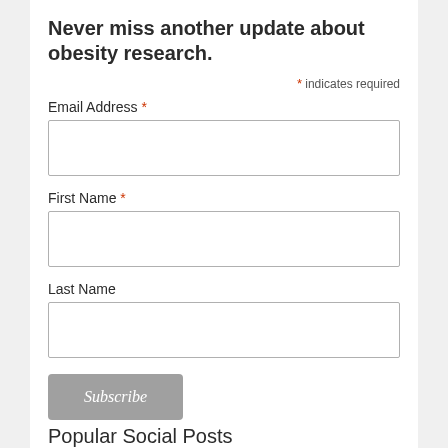Never miss another update about obesity research.
* indicates required
Email Address *
First Name *
Last Name
Subscribe
Popular Social Posts